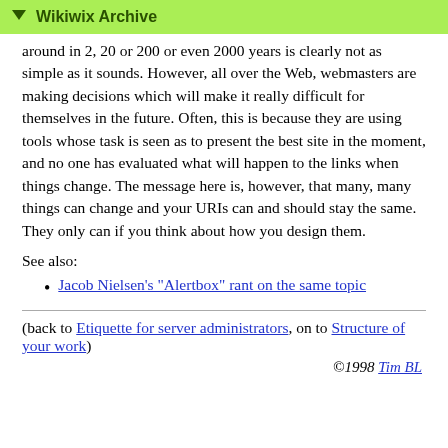▼ Wikiwix Archive
around in 2, 20 or 200 or even 2000 years is clearly not as simple as it sounds. However, all over the Web, webmasters are making decisions which will make it really difficult for themselves in the future. Often, this is because they are using tools whose task is seen as to present the best site in the moment, and no one has evaluated what will happen to the links when things change. The message here is, however, that many, many things can change and your URIs can and should stay the same. They only can if you think about how you design them.
See also:
Jacob Nielsen's "Alertbox" rant on the same topic
(back to Etiquette for server administrators, on to Structure of your work)
©1998 Tim BL